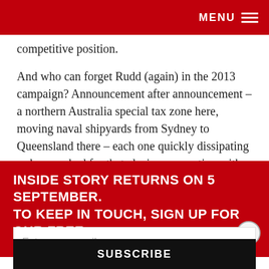MENU
competitive position.
And who can forget Rudd (again) in the 2013 campaign? Announcement after announcement – a northern Australia special tax zone here, moving naval shipyards from Sydney to Queensland there – each one quickly dissipating as he searched for that elusive connection with the electorate, particularly the component that made up his home state
But a leader trying to push the polls up with no election on the immediate horizon, or alternatively, a leader trying to retain his or her position... the lot of opposition leaders, it has for the past seven years been a characteristic of governing parties.
INSIDE STORY RETURNS ON 5 SEPTEMBER. TO KEEP IN TOUCH, SIGN UP FOR OUR FREE NEWSLETTER...
Enter your email
SUBSCRIBE